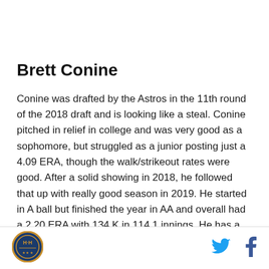Brett Conine
Conine was drafted by the Astros in the 11th round of the 2018 draft and is looking like a steal. Conine pitched in relief in college and was very good as a sophomore, but struggled as a junior posting just a 4.09 ERA, though the walk/strikeout rates were good. After a solid showing in 2018, he followed that up with really good season in 2019. He started in A ball but finished the year in AA and overall had a 2.20 ERA with 134 K in 114.1 innings. He has a fastball, slider,
[Figure (logo): Circular sports/media logo with orange and blue design and letters]
[Figure (logo): Twitter bird icon in cyan blue]
[Figure (logo): Facebook f icon in dark blue]